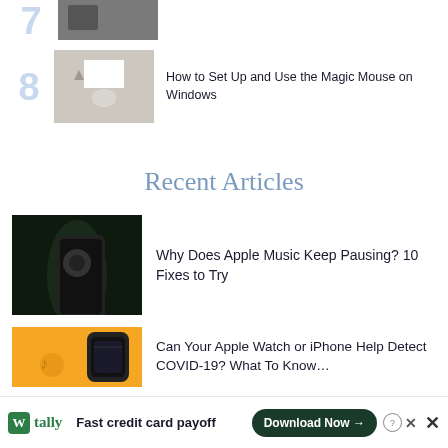[Figure (photo): Cropped top image showing a person at a desk, item 7 partially visible]
[Figure (photo): Thumbnail of article 8: person using Apple Magic Mouse on a desk]
How to Set Up and Use the Magic Mouse on Windows
Recent Articles
[Figure (photo): Hand holding a smartphone, dark background]
Why Does Apple Music Keep Pausing? 10 Fixes to Try
[Figure (photo): Orange background article thumbnail with Apple Watch]
Can Your Apple Watch or iPhone Help Detect COVID-19? What To Know…
Fast credit card payoff